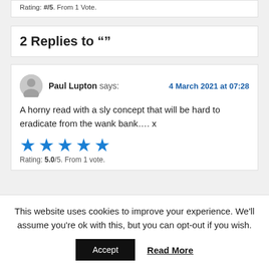Rating: #/5. From 1 Vote.
2 Replies to ""
Paul Lupton says: 4 March 2021 at 07:28
A horny read with a sly concept that will be hard to eradicate from the wank bank…. x
Rating: 5.0/5. From 1 vote.
This website uses cookies to improve your experience. We'll assume you're ok with this, but you can opt-out if you wish. Accept Read More